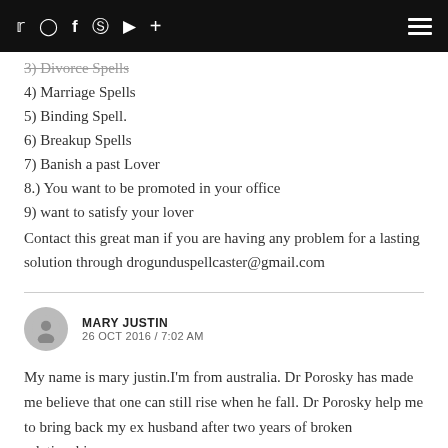Social media navigation bar with icons: Twitter, Instagram, Facebook, Pinterest, YouTube, Plus, and hamburger menu
3) Divorce Spells
4) Marriage Spells
5) Binding Spell.
6) Breakup Spells
7) Banish a past Lover
8.) You want to be promoted in your office
9) want to satisfy your lover
Contact this great man if you are having any problem for a lasting solution through drogunduspellcaster@gmail.com
MARY JUSTIN
26 OCT 2016 / 7:02 AM
My name is mary justin.I'm from australia. Dr Porosky has made me believe that one can still rise when he fall. Dr Porosky help me to bring back my ex husband after two years of broken relationship